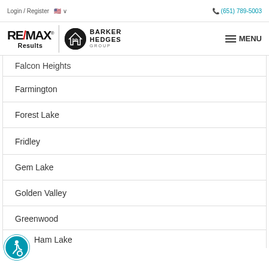Login / Register  (651) 789-5003
[Figure (logo): RE/MAX Results and Barker Hedges Group logo with MENU button]
Falcon Heights
Farmington
Forest Lake
Fridley
Gem Lake
Golden Valley
Greenwood
Ham Lake
[Figure (illustration): Accessibility icon button (blue circle with wheelchair user symbol)]